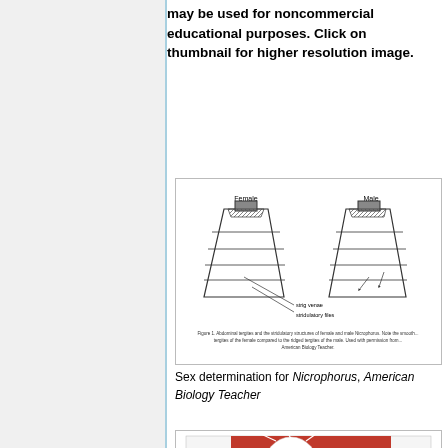may be used for noncommercial educational purposes. Click on thumbnail for higher resolution image.
[Figure (illustration): Scientific diagram showing sex determination for Nicrophorus beetles, with Female on left and Male on right, showing stridulatory files and wing venation]
Sex determination for Nicrophorus, American Biology Teacher
[Figure (photo): Photo of a white and brown beetle specimen on a red background]